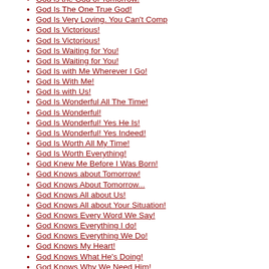God is the God of Tomorrow!
God Is The One True God!
God Is Very Loving. You Can't Comp
God Is Victorious!
God Is Victorious!
God Is Waiting for You!
God Is Waiting for You!
God Is with Me Wherever I Go!
God Is With Me!
God Is with Us!
God Is Wonderful All The Time!
God Is Wonderful!
God Is Wonderful! Yes He Is!
God Is Wonderful! Yes Indeed!
God Is Worth All My Time!
God Is Worth Everything!
God Knew Me Before I Was Born!
God Knows about Tomorrow!
God Knows About Tomorrow...
God Knows All about Us!
God Knows All about Your Situation!
God Knows Every Word We Say!
God Knows Everything I do!
God Knows Everything We Do!
God Knows My Heart!
God Knows What He's Doing!
God Knows Why We Need Him!
God Looks for the Best in Me! Do Y
God Loves Me Very Much!
God Loves Me!
God Loves Me!